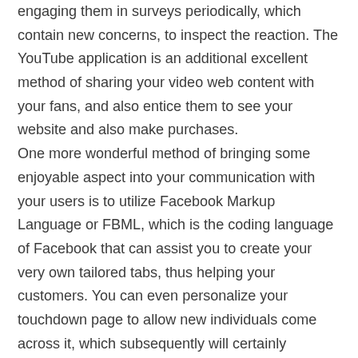engaging them in surveys periodically, which contain new concerns, to inspect the reaction. The YouTube application is an additional excellent method of sharing your video web content with your fans, and also entice them to see your website and also make purchases.
One more wonderful method of bringing some enjoyable aspect into your communication with your users is to utilize Facebook Markup Language or FBML, which is the coding language of Facebook that can assist you to create your very own tailored tabs, thus helping your customers. You can even personalize your touchdown page to allow new individuals come across it, which subsequently will certainly enhance your opportunities of transforming these guests right into your followers and possible customers.
An impressive account page on MySpace can help you to develop brand name acknowledgment as well as market your offerings properly on the internet. To begin with, you should establish a page, include attributes like videos etc, as well as begin making